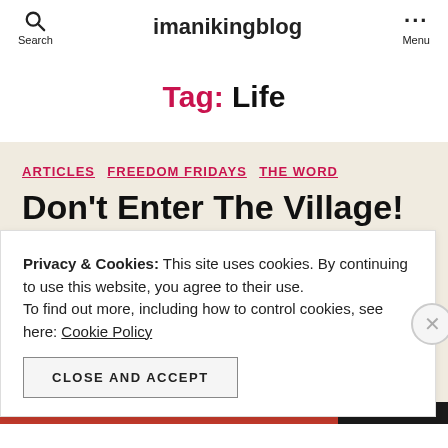imanikingblog — Search | Menu
Tag: Life
ARTICLES   FREEDOM FRIDAYS   THE WORD
Don't Enter The Village!
Privacy & Cookies: This site uses cookies. By continuing to use this website, you agree to their use.
To find out more, including how to control cookies, see here: Cookie Policy
CLOSE AND ACCEPT